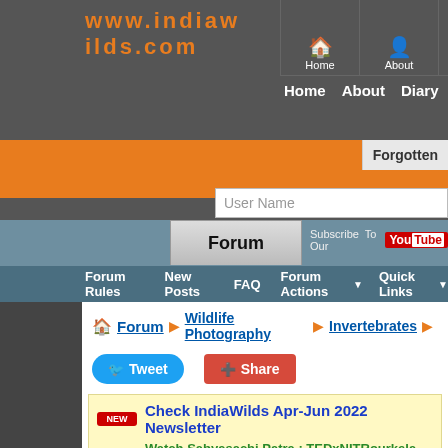www.indiawilds.com
Home  About  Diary  For
Forgotten
User Name
Forum
Subscribe  To Our  YouTube
Forum Rules  New Posts  FAQ  Forum Actions  Quick Links
Forum ▶ Wildlife Photography ▶ Invertebrates ▶
Tweet   Share
Check IndiaWilds Apr-Jun 2022 Newsletter
Watch Sabyasachi Patra : TEDxNITRourkela Talk | W
Watch - 'Wild Gujarat - Discovering Rann' | Film - Yo
User Tag List
Thread: A flower & a grasshopper...